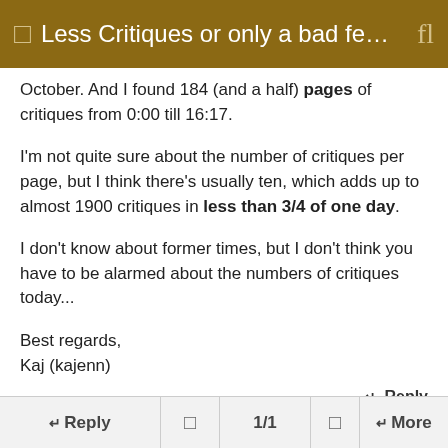Less Critiques or only a bad fe…
October. And I found 184 (and a half) pages of critiques from 0:00 till 16:17.
I'm not quite sure about the number of critiques per page, but I think there's usually ten, which adds up to almost 1900 critiques in less than 3/4 of one day.
I don't know about former times, but I don't think you have to be alarmed about the numbers of critiques today...
Best regards,
Kaj (kajenn)
↵ Reply
macondo , 11-12-2010 09:48 PM   #3
↵ Reply   ↵   1/1   ↵   ↵ More